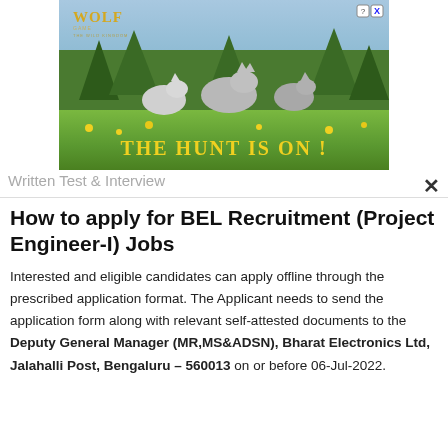[Figure (illustration): Wolf Game advertisement banner showing wolves in a forest with text 'THE HUNT IS ON !']
Written Test & Interview
How to apply for BEL Recruitment (Project Engineer-I) Jobs
Interested and eligible candidates can apply offline through the prescribed application format. The Applicant needs to send the application form along with relevant self-attested documents to the Deputy General Manager (MR,MS&ADSN), Bharat Electronics Ltd, Jalahalli Post, Bengaluru – 560013 on or before 06-Jul-2022.